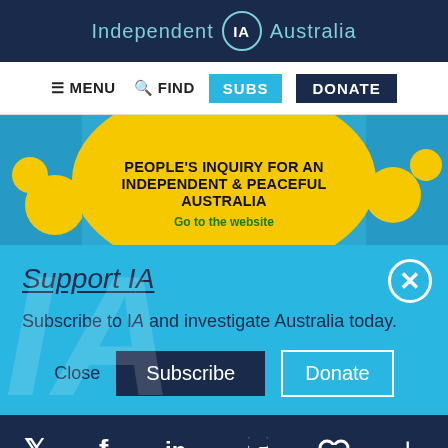Independent IA Australia
[Figure (screenshot): Navigation bar with MENU, FIND, SUBS, DONATE buttons]
[Figure (infographic): Banner: PEOPLE'S INQUIRY FOR AN INDEPENDENT & PEACEFUL AUSTRALIA — Go to the website]
Support IA
Subscribe to IA and investigate Australia today.
[Figure (screenshot): Buttons: Close, Subscribe, Donate]
Social icons: Twitter, Facebook, LinkedIn, Flipboard, Link, Plus